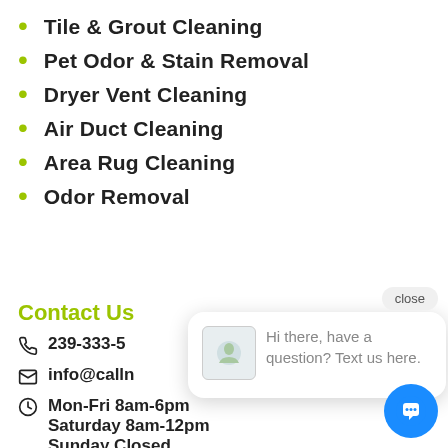Tile & Grout Cleaning
Pet Odor & Stain Removal
Dryer Vent Cleaning
Air Duct Cleaning
Area Rug Cleaning
Odor Removal
Contact Us
239-333-5
info@calln
Mon-Fri 8am-6pm
Saturday 8am-12pm
Sunday Closed
[Figure (screenshot): Chat popup with avatar and message: Hi there, have a question? Text us here. Close button and blue chat bubble button visible.]